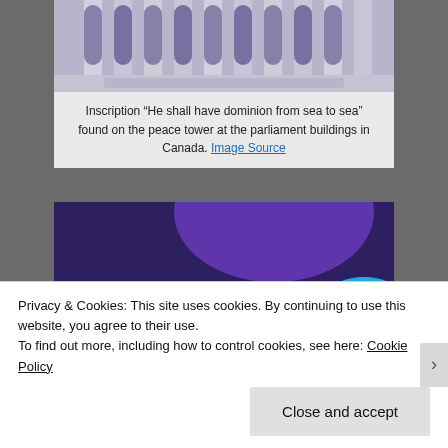[Figure (photo): Photo of gothic stone architecture, tall arched windows on a building (peace tower at parliament buildings in Canada), partially cropped at top.]
Inscription “He shall have dominion from sea to sea” found on the peace tower at the parliament buildings in Canada. Image Source
[Figure (infographic): Advertisement banner with dark purple background, green and cyan geometric shapes, bold white text reading 'Turn your hobby into a business in 8 steps', and a white button 'Start a new store'.]
Privacy & Cookies: This site uses cookies. By continuing to use this website, you agree to their use.
To find out more, including how to control cookies, see here: Cookie Policy